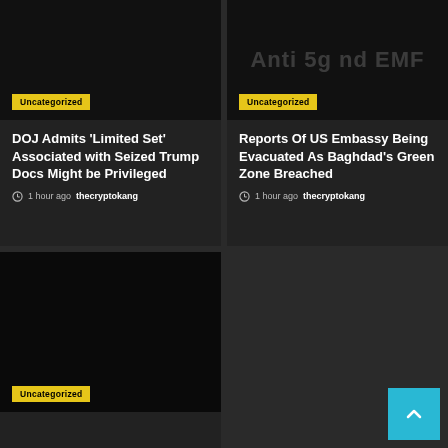[Figure (screenshot): Dark card image with faint watermark text 'Anti 5g and EMF']
Uncategorized
DOJ Admits ‘Limited Set’ Associated with Seized Trump Docs Might be Privileged
1 hour ago  thecryptokang
[Figure (screenshot): Dark card image with faint watermark text 'Anti 5g nd EMF']
Uncategorized
Reports Of US Embassy Being Evacuated As Baghdad’s Green Zone Breached
1 hour ago  thecryptokang
[Figure (screenshot): Dark card image, third article, partially visible]
Uncategorized